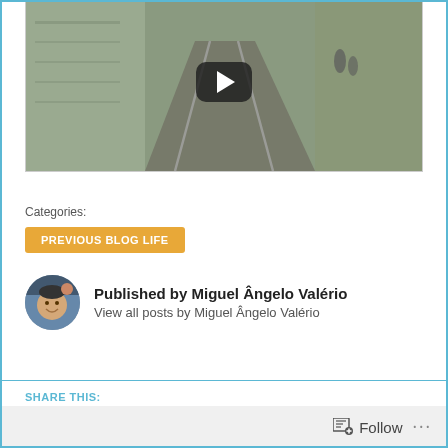[Figure (screenshot): Video thumbnail showing a cobblestone street with tram tracks, buildings on either side, and a YouTube-style play button overlay in the center.]
Categories:
PREVIOUS BLOG LIFE
[Figure (photo): Round avatar photo of Miguel Ângelo Valério, a man smiling.]
Published by Miguel Ângelo Valério
View all posts by Miguel Ângelo Valério
SHARE THIS:
[Figure (infographic): Social sharing icons row: Twitter (blue), Facebook (blue), LinkedIn (blue), Email (grey), WhatsApp (green), and a More button.]
Follow